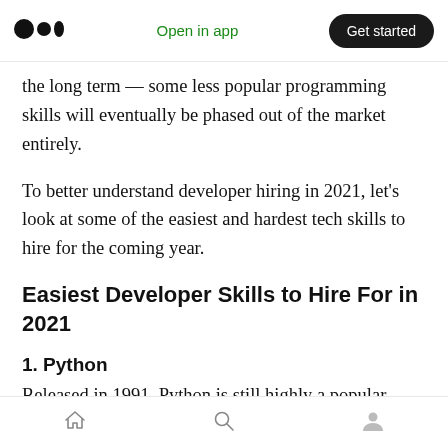Medium app header — Open in app | Get started
the long term — some less popular programming skills will eventually be phased out of the market entirely.
To better understand developer hiring in 2021, let's look at some of the easiest and hardest tech skills to hire for the coming year.
Easiest Developer Skills to Hire For in 2021
1. Python
Released in 1991, Python is still highly a popular
Bottom navigation bar — Home, Search, Profile